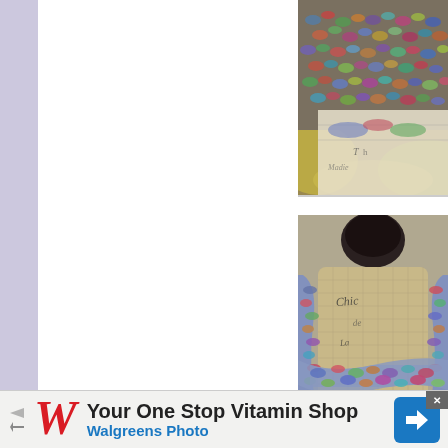[Figure (photo): Partial view of a colorful multicolored knitted hat/accessory, cropped at top-right of page]
[Figure (photo): A colorful multicolored knitted infinity scarf draped on a vintage mannequin bust with script text, viewed from the front]
[Figure (photo): Walgreens advertisement banner: 'Your One Stop Vitamin Shop' with Walgreens Photo logo and navigation icon]